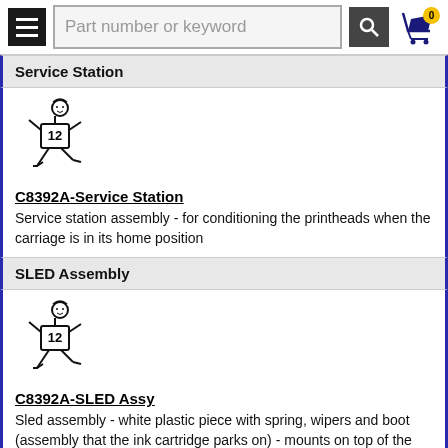Part number or keyword [search bar with cart]
Service Station
[Figure (illustration): Running figure cartoon illustration holding a part labeled '12']
C8392A-Service Station
Service station assembly - for conditioning the printheads when the carriage is in its home position
SLED Assembly
[Figure (illustration): Running figure cartoon illustration holding a part labeled '12']
C8392A-SLED Assy
Sled assembly - white plastic piece with spring, wipers and boot (assembly that the ink cartridge parks on) - mounts on top of the service station
Slider
[Figure (illustration): Partial running figure cartoon illustration at bottom of page]